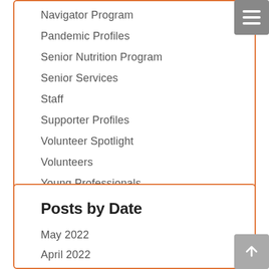Navigator Program
Pandemic Profiles
Senior Nutrition Program
Senior Services
Staff
Supporter Profiles
Volunteer Spotlight
Volunteers
Young Professionals
Posts by Date
May 2022
April 2022